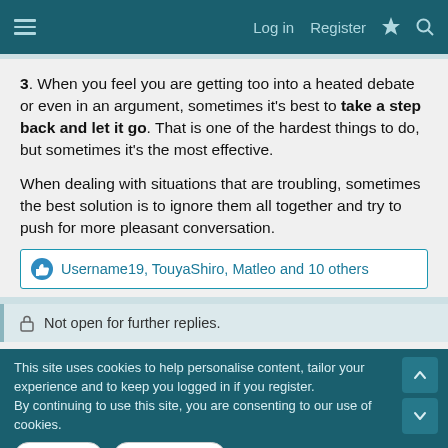Log in  Register
3. When you feel you are getting too into a heated debate or even in an argument, sometimes it's best to take a step back and let it go. That is one of the hardest things to do, but sometimes it's the most effective.
When dealing with situations that are troubling, sometimes the best solution is to ignore them all together and try to push for more pleasant conversation.
Username19, TouyaShiro, Matleo and 10 others
Not open for further replies.
This site uses cookies to help personalise content, tailor your experience and to keep you logged in if you register.
By continuing to use this site, you are consenting to our use of cookies.